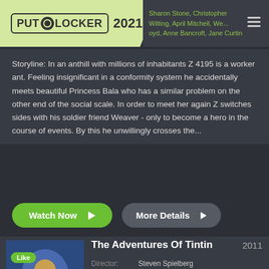Putlocker 2021
Storyline: In an anthill with millions of inhabitants Z 4195 is a worker ant. Feeling insignificant in a conformity system he accidentally meets beautiful Princess Bala who has a similar problem on the other end of the social scale. In order to meet her again Z switches sides with his soldier friend Weaver - only to become a hero in the course of events. By this he unwillingly crosses the...
Watch Now
More Details
[Figure (photo): The Adventures of Tintin movie poster with Like badge]
The Adventures Of Tintin
Director: Steven Spielberg
Actor: Jamie Bell, Andy Serkis, Daniel Craig, Nick Frost, Simon Pegg, Daniel Mays, Gad Elmaleh, Toby Jones
Storyline: Having bought a model ship the Unicorn for a pound off a market stall Tintin is initially puzzled that the sinister Mr. Sakharine should be so eager to buy it from him resorting to murder and kidnapping Tintin - accompanied by his marvellous dog Snowy - to join him and his gang as they sail to Morocco and beyond joining Calculus in a trail that...